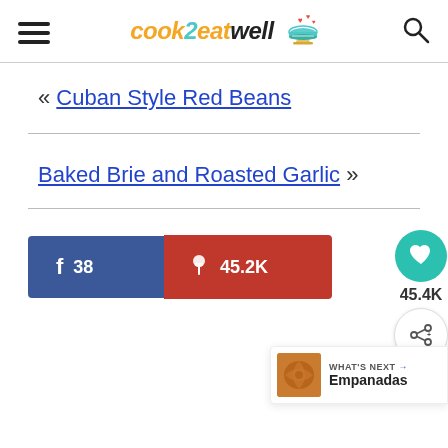cook2eatwell
« Cuban Style Red Beans
Baked Brie and Roasted Garlic »
f 38   P 45.2K
45.4K
WHAT'S NEXT → Empanadas